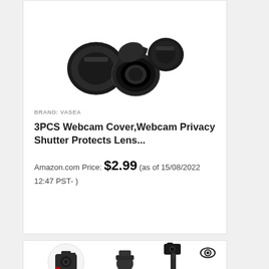[Figure (photo): Product image of 3 black webcam lens covers/caps with flip-open lids]
BRAND: VASEA
3PCS Webcam Cover,Webcam Privacy Shutter Protects Lens...
Amazon.com Price: $2.99 (as of 15/08/2022 12:47 PST- )
[Figure (photo): Product image of a camera tripod/mini tripod with ball head and GoPro mount, with inset circles showing compatible camera types]